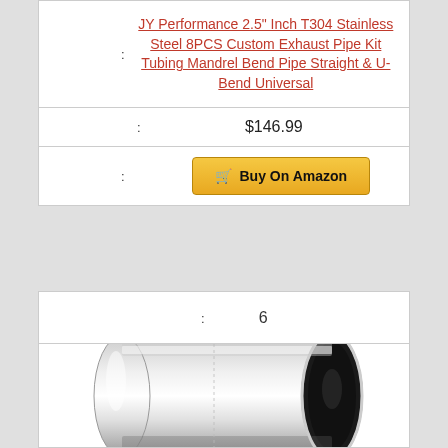JY Performance 2.5" Inch T304 Stainless Steel 8PCS Custom Exhaust Pipe Kit Tubing Mandrel Bend Pipe Straight & U-Bend Universal
$146.99
Buy On Amazon
6
[Figure (photo): Shiny chrome/stainless steel exhaust pipe coupler or tip, cylindrical shape with polished metallic finish, photographed on white background]